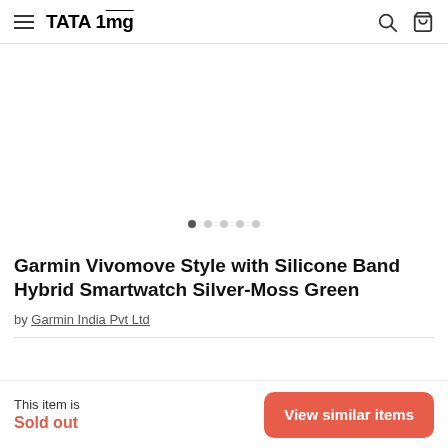TATA 1mg
[Figure (photo): Product image area (empty/white) with carousel dots below indicating 5 slides, first dot active]
Garmin Vivomove Style with Silicone Band Hybrid Smartwatch Silver-Moss Green
by Garmin India Pvt Ltd
This item is
Sold out